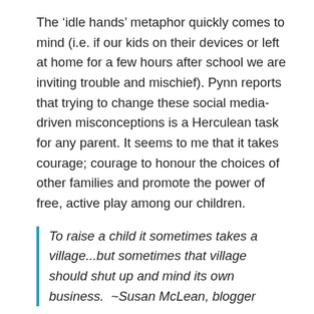The 'idle hands' metaphor quickly comes to mind (i.e. if our kids on their devices or left at home for a few hours after school we are inviting trouble and mischief). Pynn reports that trying to change these social media-driven misconceptions is a Herculean task for any parent. It seems to me that it takes courage; courage to honour the choices of other families and promote the power of free, active play among our children.
To raise a child it sometimes takes a village...but sometimes that village should shut up and mind its own business.  ~Susan McLean, blogger
What's the end in all of this?